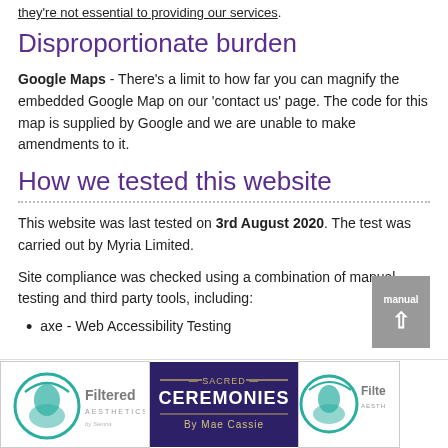they're not essential to providing our services.
Disproportionate burden
Google Maps - There's a limit to how far you can magnify the embedded Google Map on our 'contact us' page. The code for this map is supplied by Google and we are unable to make amendments to it.
How we tested this website
This website was last tested on 3rd August 2020. The test was carried out by Myria Limited.
Site compliance was checked using a combination of manual testing and third party tools, including:
axe - Web Accessibility Testing
[Figure (logo): Filtered Aesthetics logo (teal and grey, face silhouette)]
[Figure (logo): Sacred Ceremonies By Mae Cassie logo (dark purple background, white text)]
[Figure (logo): Filtered Aesthetics logo (partial, right edge)]